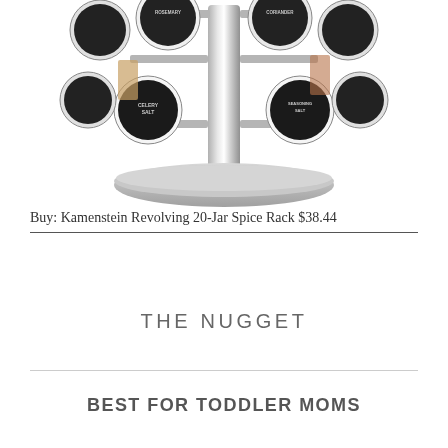[Figure (photo): A chrome revolving spice rack with multiple black-capped glass jars filled with spices, including visible labels for Rosemary, Celery Salt, and Seasoning Salt, on a round chrome base.]
Buy: Kamenstein Revolving 20-Jar Spice Rack $38.44
THE NUGGET
BEST FOR TODDLER MOMS